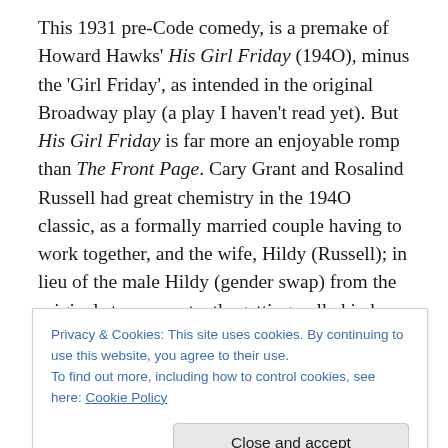This 1931 pre-Code comedy, is a premake of Howard Hawks' His Girl Friday (194O), minus the 'Girl Friday', as intended in the original Broadway play (a play I haven't read yet). But His Girl Friday is far more an enjoyable romp than The Front Page. Cary Grant and Rosalind Russell had great chemistry in the 194O classic, as a formally married couple having to work together, and the wife, Hildy (Russell); in lieu of the male Hildy (gender swap) from the original story; constantly getting pulled in by her editor/ex-husband (Grant) and the candlestick phones that keep ringing off the hook, even though she
Privacy & Cookies: This site uses cookies. By continuing to use this website, you agree to their use.
To find out more, including how to control cookies, see here: Cookie Policy
Close and accept
Front Page. The Front Page's Hildy is actually named